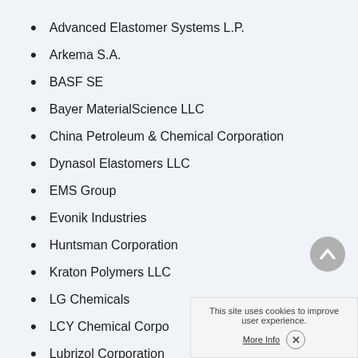Advanced Elastomer Systems L.P.
Arkema S.A.
BASF SE
Bayer MaterialScience LLC
China Petroleum & Chemical Corporation
Dynasol Elastomers LLC
EMS Group
Evonik Industries
Huntsman Corporation
Kraton Polymers LLC
LG Chemicals
LCY Chemical Corporation
Lubrizol Corporation
This site uses cookies to improve user experience.
More Info